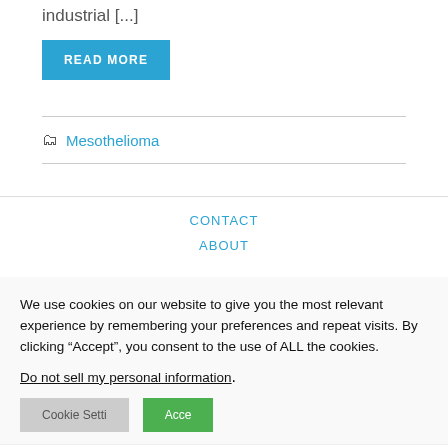industrial [...]
READ MORE
Mesothelioma
CONTACT
ABOUT
We use cookies on our website to give you the most relevant experience by remembering your preferences and repeat visits. By clicking “Accept”, you consent to the use of ALL the cookies.
Do not sell my personal information.
Disclaimer - Terms and Conditions - Privacy Policy